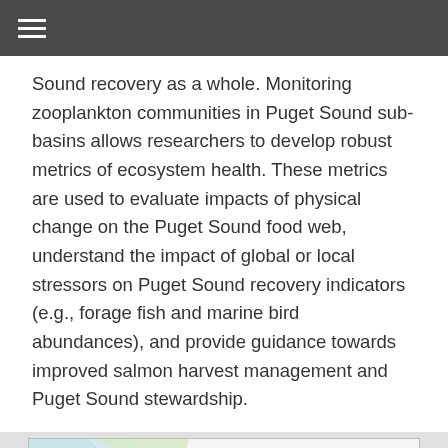≡
Sound recovery as a whole. Monitoring zooplankton communities in Puget Sound sub-basins allows researchers to develop robust metrics of ecosystem health. These metrics are used to evaluate impacts of physical change on the Puget Sound food web, understand the impact of global or local stressors on Puget Sound recovery indicators (e.g., forage fish and marine bird abundances), and provide guidance towards improved salmon harvest management and Puget Sound stewardship.
[Figure (map): Map of Puget Sound showing sampling locations including COW, ELI, Lummi, and Kwiaht sites near Bellingham area.]